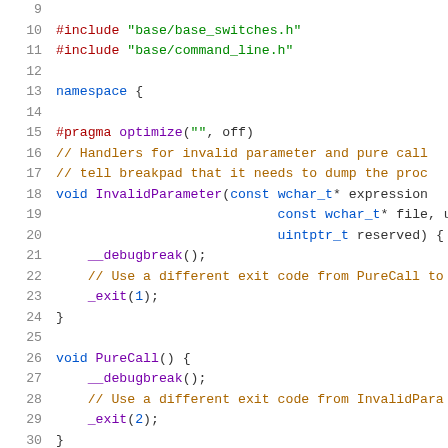Source code listing showing C++ file with includes, namespace, InvalidParameter and PureCall functions, lines 9-30
[Figure (screenshot): C++ source code editor view showing lines 9-30 with syntax highlighting. Contains #include directives, namespace block, #pragma optimize, void InvalidParameter function with __debugbreak() and _exit(1), and void PureCall function with __debugbreak() and _exit(2).]